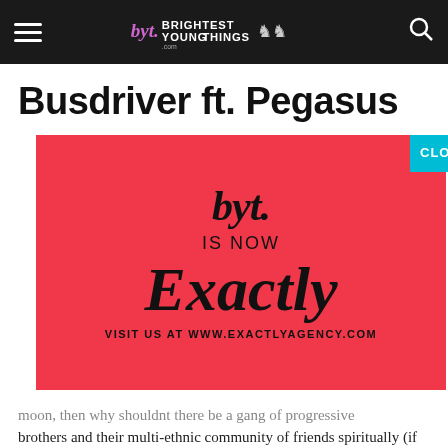Brightest Young Things — navigation header
Busdriver ft. Pegasus
[Figure (infographic): Red advertisement box with BYT logo in script, text 'IS NOW', large italic serif 'Exactly', and 'VISIT US AT WWW.EXACTLYAGENCY.COM'. A teal 'CLOSE' button overlaps the top-right corner.]
moon, then why shouldnt there be a gang of progressive brothers and their multi-ethnic community of friends spiritually (if